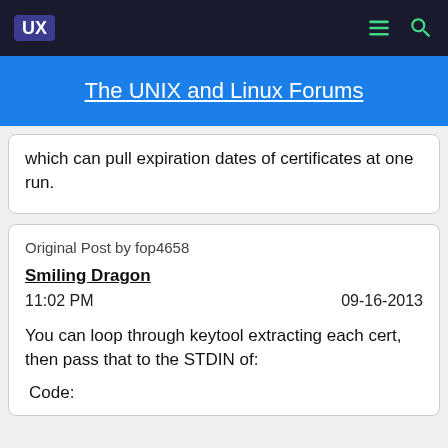UX | The UNIX and Linux Forums
which can pull expiration dates of certificates at one run.
Original Post by fop4658
Smiling Dragon
11:02 PM	09-16-2013
You can loop through keytool extracting each cert, then pass that to the STDIN of:
Code: